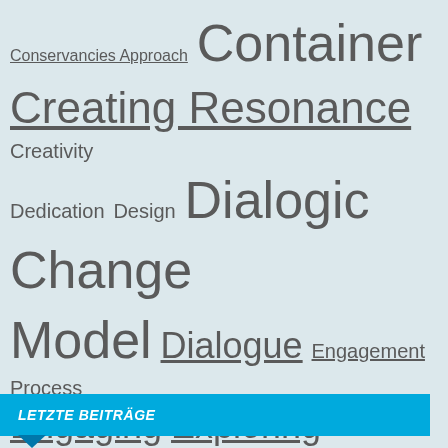[Figure (infographic): Tag cloud / word cloud containing terms related to dialogue, stakeholder engagement, and organizational concepts. Terms vary in font size indicating frequency or importance. Terms include: Conservancies Approach, Container, Creating Resonance, Creativity, Dedication, Design, Dialogic Change Model, Dialogue, Engagement Process, Engaging, Exploring, Feedback, Focus, Formalizing, Forum, Future Possibilities, Humanity, Innovation, Learning Journey, Listening, Meetings, Namibia, Natural Resource Management, Private Sector, Public-Private Partnership, Public Sector, Raising Energy, Ritual, SADC, Social Media, Stakeholder Dialogue, Story, Suspend, Sustainable Tourism, Team-Building, Tool]
LETZTE BEITRÄGE